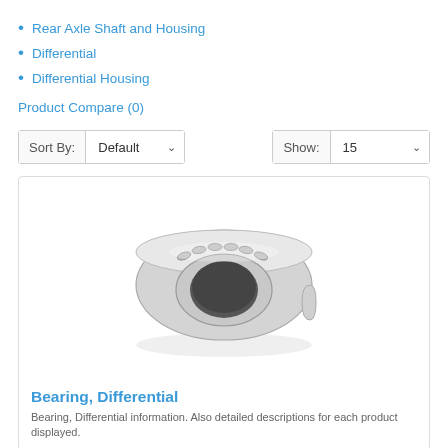Rear Axle Shaft and Housing
Differential
Differential Housing
Product Compare (0)
Sort By: Default   Show: 15
[Figure (photo): A tapered roller bearing (Bearing, Differential) shown in perspective view, silver/metallic finish with visible roller elements and inner race.]
Bearing, Differential
Bearing, Differential information. Also detailed descriptions for each product displayed.